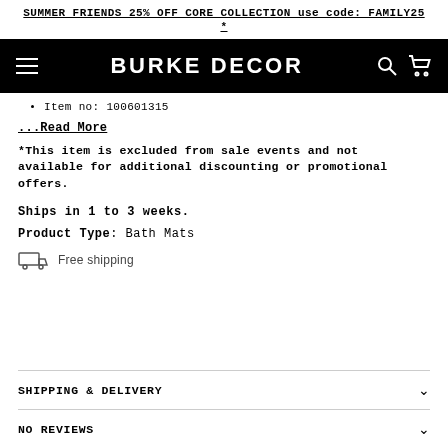SUMMER FRIENDS 25% OFF CORE COLLECTION use code: FAMILY25 *
[Figure (screenshot): Burke Decor navigation bar with hamburger menu, brand name BURKE DECOR, search icon, and cart icon on black background]
Item no: 100601315
...Read More
*This item is excluded from sale events and not available for additional discounting or promotional offers.
Ships in 1 to 3 weeks.
Product Type: Bath Mats
Free shipping
SHIPPING & DELIVERY
NO REVIEWS